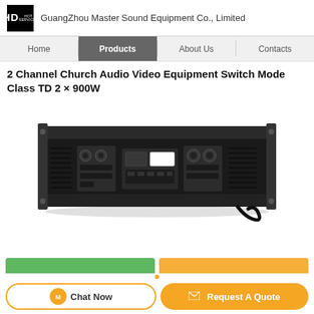GuangZhou Master Sound Equipment Co., Limited
Home | Products | About Us | Contacts
2 Channel Church Audio Video Equipment Switch Mode Class TD 2 × 900W
[Figure (photo): Rear view of a black 2-channel professional power amplifier unit in rack-mount form factor, showing XLR inputs, speaker outputs, and power connectors]
Chat Now
Request A Quote